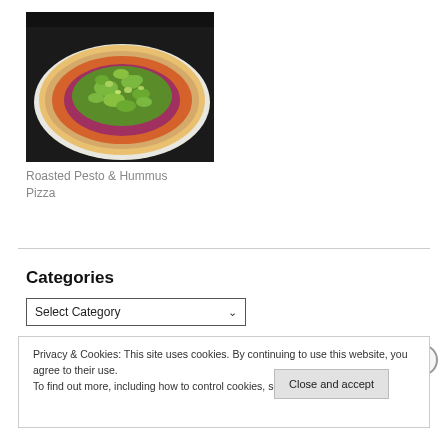[Figure (photo): A flatbread pizza topped with green pesto, hummus (orange/red layer), purple sauce, and chopped green vegetables, on a white surface with a dark background.]
Roasted Pesto & Hummus Pizza
Categories
Select Category
Privacy & Cookies: This site uses cookies. By continuing to use this website, you agree to their use.
To find out more, including how to control cookies, see here: Cookie Policy
Close and accept